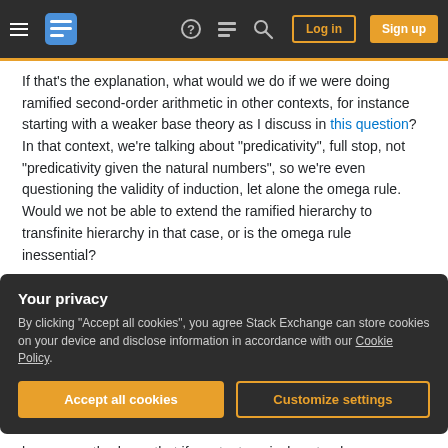Stack Exchange navigation bar with Log in and Sign up buttons
If that's the explanation, what would we do if we were doing ramified second-order arithmetic in other contexts, for instance starting with a weaker base theory as I discuss in this question? In that context, we're talking about "predicativity", full stop, not "predicativity given the natural numbers", so we're even questioning the validity of induction, let alone the omega rule. Would we not be able to extend the ramified hierarchy to transfinite hierarchy in that case, or is the omega rule inessential?
Your privacy
By clicking "Accept all cookies", you agree Stack Exchange can store cookies on your device and disclose information in accordance with our Cookie Policy.
he apparently shows that if you try to naively extend